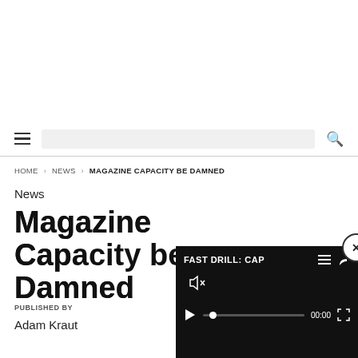Navigation bar with hamburger menu, search bar, search icon
HOME › NEWS › MAGAZINE CAPACITY BE DAMNED
News
Magazine Capacity be Damned
PUBLISHED BY
Adam Kraut
[Figure (screenshot): Video overlay player showing 'FAST DRILL: CAP...' title with mute, play controls, progress bar at 00:00, fullscreen button, and close (x) button]